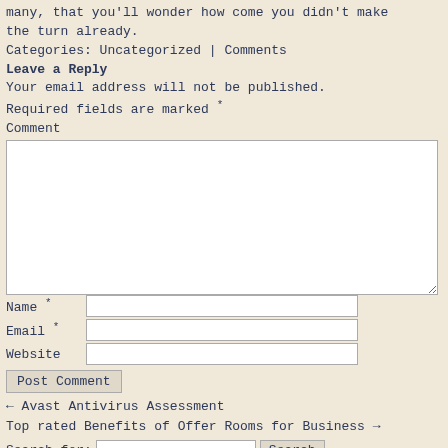many, that you'll wonder how come you didn't make the turn already.
Categories: Uncategorized | Comments
Leave a Reply
Your email address will not be published. Required fields are marked *
Comment
[Comment textarea]
Name *  [input]
Email *  [input]
Website  [input]
[Post Comment button]
← Avast Antivirus Assessment
Top rated Benefits of Offer Rooms for Business →
Search for:  [input]  Search
Recent Posts
If only I'm able to tell you that an effective milfs dating website success is a point of